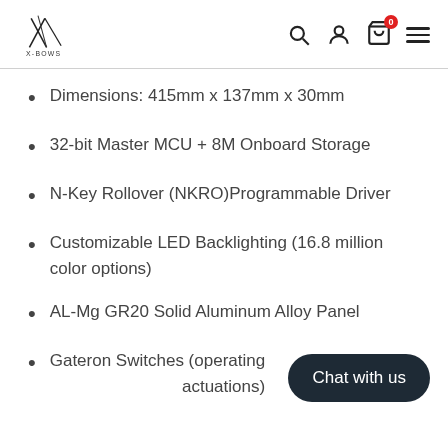X-BOWS logo and navigation icons (search, account, cart with badge 0, menu)
Dimensions: 415mm x 137mm x 30mm
32-bit Master MCU + 8M Onboard Storage
N-Key Rollover (NKRO)Programmable Driver
Customizable LED Backlighting (16.8 million color options)
AL-Mg GR20 Solid Aluminum Alloy Panel
Gateron Switches (operating actuations)
Chat with us